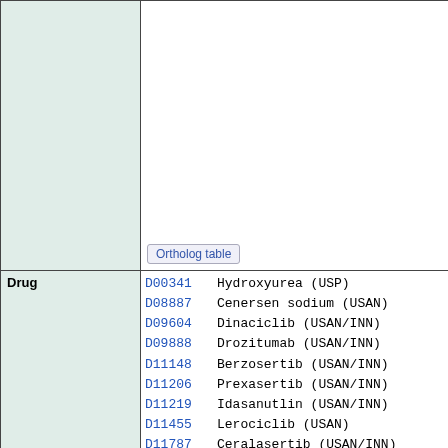Ortholog table
|  | Drug ID | Drug Name |
| --- | --- | --- |
| Drug | D00341 | Hydroxyurea (USP) |
|  | D08887 | Cenersen sodium (USAN) |
|  | D09604 | Dinaciclib (USAN/INN) |
|  | D09888 | Drozitumab (USAN/INN) |
|  | D11148 | Berzosertib (USAN/INN) |
|  | D11206 | Prexasertib (USAN/INN) |
|  | D11219 | Idasanutlin (USAN/INN) |
|  | D11455 | Lerociclib (USAN) |
|  | D11787 | Ceralasertib (USAN/INN) |
|  | D12321 | Camonsertib (USAN) |
|  | D12378 | Navtemadlin (USAN/INN) |
|  | D12399 | Sulanemadlin (USAN/INN) |
|  | D12417 | Siremadlin (USAN/INN) |